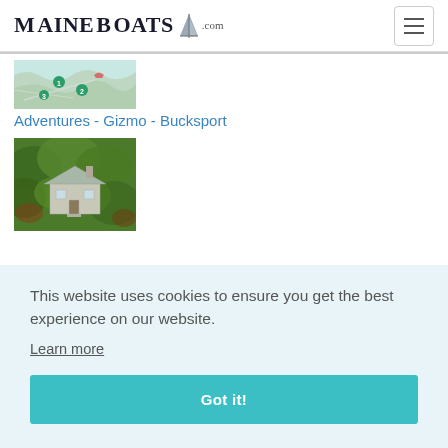MaineBoats.com
[Figure (map): Partial map thumbnail showing nautical/geographic map with colored pins, partially cropped at top]
Adventures - Gizmo - Bucksport
[Figure (photo): Aerial or elevated photo of a house surrounded by dense green trees/foliage, with a light-colored roof]
This website uses cookies to ensure you get the best experience on our website.
Learn more
Got it!